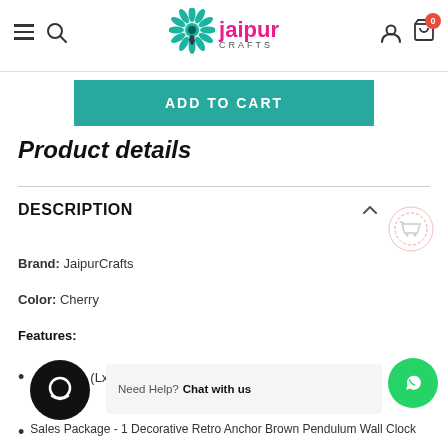[Figure (logo): Jaipur Crafts logo with peacock feather emblem and pink brand name]
ADD TO CART
Product details
DESCRIPTION
Brand: JaipurCrafts
Color: Cherry
Features:
(LxWxH) - 2 x 12 x
Sales Package - 1 Decorative Retro Anchor Brown Pendulum Wall Clock